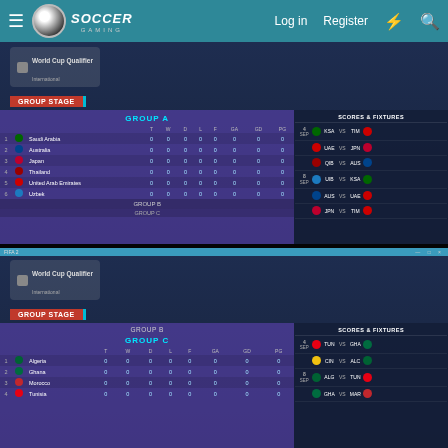Soccer Gaming — Log in  Register
[Figure (screenshot): FIFA game screenshot showing World Cup Qualifier Group Stage — Group A standings table with teams: 1. Saudi Arabia, 2. Australia, 3. Japan, 4. Thailand, 5. United Arab Emirates, 6. Uzbek — all showing 0 0 0 0 0 0 0 0. Right panel shows Scores & Fixtures with matchups: KSA vs TIM, UAE vs JPN, QIB vs AUS, UIB vs KSA, AUS vs UAE, JPN vs TIM.]
[Figure (screenshot): FIFA game screenshot showing World Cup Qualifier Group Stage — Group B banner and Group C standings table with teams: 1. Algeria, 2. Ghana, 3. Morocco, 4. Tunisia — all showing 0s. Right panel shows Scores & Fixtures: TUN vs GHA, CIN vs ALC, ALG vs TUN, GHA vs MAR.]